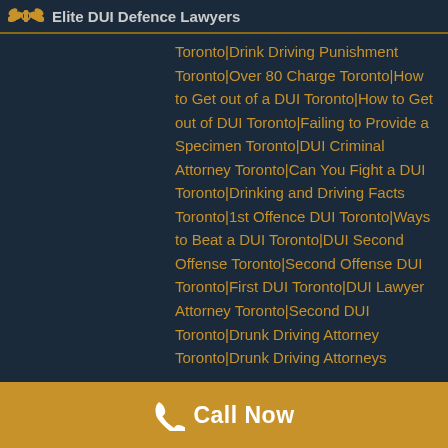Elite DUI Defence Lawyers
Toronto|Drink Driving Punishment Toronto|Over 80 Charge Toronto|How to Get out of a DUI Toronto|How to Get out of DUI Toronto|Failing to Provide a Specimen Toronto|DUI Criminal Attorney Toronto|Can You Fight a DUI Toronto|Drinking and Driving Facts Toronto|1st Offence DUI Toronto|Ways to Beat a DUI Toronto|DUI Second Offense Toronto|Second Offense DUI Toronto|First DUI Toronto|DUI Lawyer Attorney Toronto|Second DUI Toronto|Drunk Driving Attorney Toronto|Drunk Driving Attorneys Toronto|Getting a DUI Expunged Toronto|Getting DUI Expunged Toronto|DUI Assessment Toronto|2nd Offense DUI
Call Now